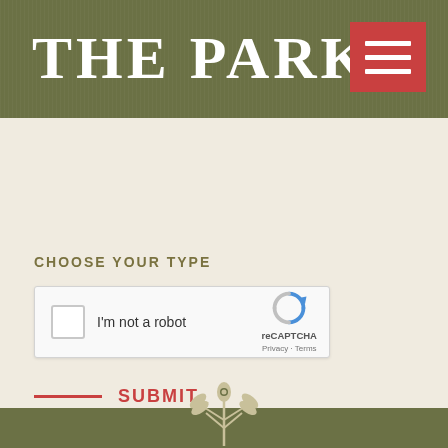THE PARK
CHOOSE YOUR TYPE
[Figure (screenshot): reCAPTCHA widget with checkbox labeled 'I'm not a robot', reCAPTCHA logo, Privacy and Terms links]
SUBMIT
[Figure (logo): The Park decorative plant/wheat logo on olive green background]